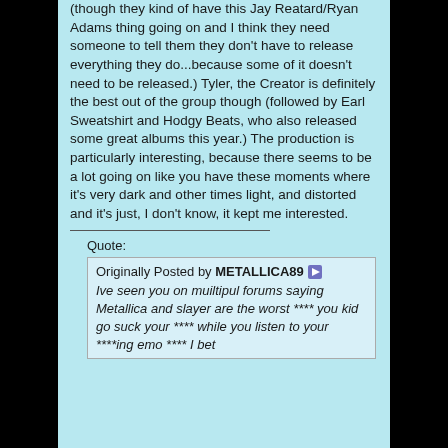(though they kind of have this Jay Reatard/Ryan Adams thing going on and I think they need someone to tell them they don't have to release everything they do...because some of it doesn't need to be released.) Tyler, the Creator is definitely the best out of the group though (followed by Earl Sweatshirt and Hodgy Beats, who also released some great albums this year.) The production is particularly interesting, because there seems to be a lot going on like you have these moments where it's very dark and other times light, and distorted and it's just, I don't know, it kept me interested.
Quote:
Originally Posted by METALLICA89
Ive seen you on muiltipul forums saying Metallica and slayer are the worst **** you kid go suck your **** while you listen to your ****ing emo **** I bet